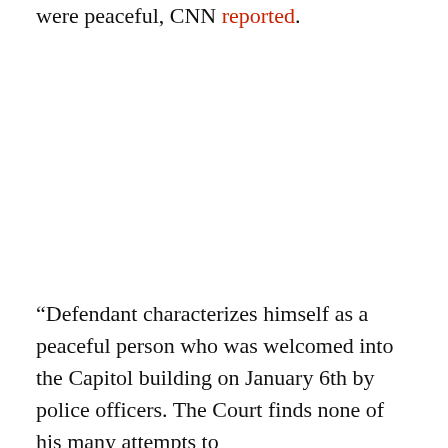were peaceful, CNN reported.
“Defendant characterizes himself as a peaceful person who was welcomed into the Capitol building on January 6th by police officers. The Court finds none of his many attempts to